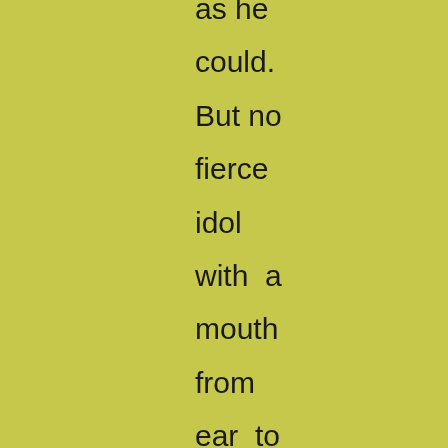as he could. But no fierce idol with a mouth from ear to ear, and a murderous visage made of parrot's feathers, was ever